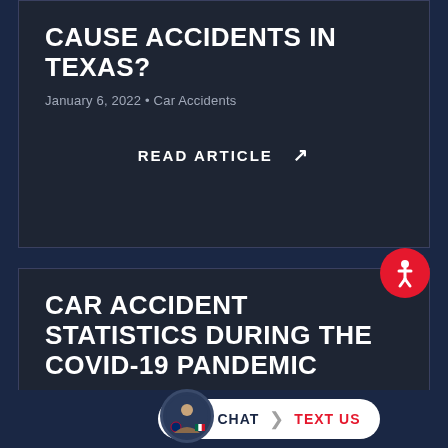CAUSE ACCIDENTS IN TEXAS?
January 6, 2022 • Car Accidents
READ ARTICLE ↗
[Figure (illustration): Red circular accessibility/wheelchair icon button]
CAR ACCIDENT STATISTICS DURING THE COVID-19 PANDEMIC
January 6, 2022 • Car Accidents
[Figure (illustration): Mexican flag emoji and live chat / text us bottom bar with agent avatar]